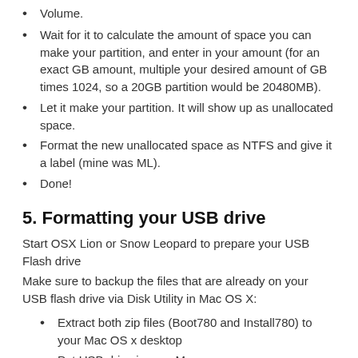Volume.
Wait for it to calculate the amount of space you can make your partition, and enter in your amount (for an exact GB amount, multiple your desired amount of GB times 1024, so a 20GB partition would be 20480MB).
Let it make your partition. It will show up as unallocated space.
Format the new unallocated space as NTFS and give it a label (mine was ML).
Done!
5. Formatting your USB drive
Start OSX Lion or Snow Leopard to prepare your USB Flash drive
Make sure to backup the files that are already on your USB flash drive via Disk Utility in Mac OS X:
Extract both zip files (Boot780 and Install780) to your Mac OS x desktop
Put USB drive in your Mac
Open up Disk Utility.
Click on your USB drive in the left sidebar.